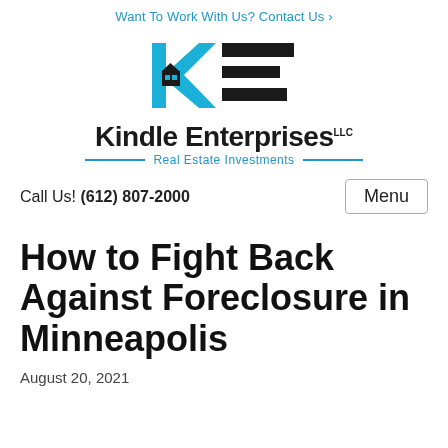Want To Work With Us? Contact Us ›
[Figure (logo): Kindle Enterprises LLC logo with KE monogram in blue and black, tagline 'Real Estate Investments']
Call Us! (612) 807-2000
How to Fight Back Against Foreclosure in Minneapolis
August 20, 2021